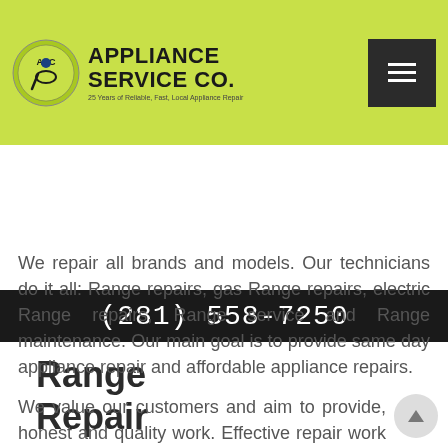APPLIANCE SERVICE CO. | 25 Years of Reliable, Fast, Local Appliance Repair | (281) 558-7250
Range Repair
We repair all brands and models. Our technicians do it all: Range repairs, gas Range repairs, electric Range repairs, Range service and Range maintenance. Our main goal is to provide same day appliance repair and affordable appliance repairs.
We value our customers and aim to provide, honest and quality work. Effective repair work and customer service is our priority and commitment to our customers.